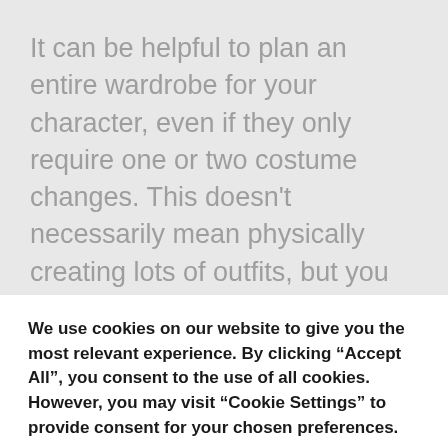It can be helpful to plan an entire wardrobe for your character, even if they only require one or two costume changes. This doesn't necessarily mean physically creating lots of outfits, but you can draw them or create mood boards using images from fashion catalogues and magazines. If you can get into your head what your character might wear in different scenarios, e.g. to the beach, at home, or when attending a garden party, for example, you
We use cookies on our website to give you the most relevant experience. By clicking “Accept All”, you consent to the use of all cookies. However, you may visit “Cookie Settings” to provide consent for your chosen preferences.